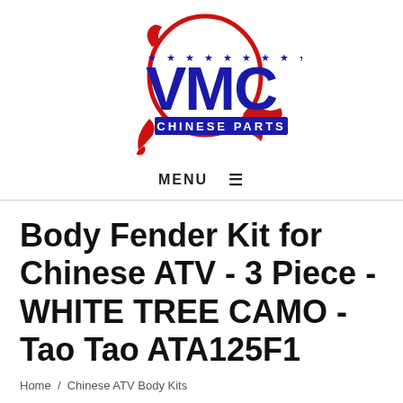[Figure (logo): VMC Chinese Parts logo with red dragon circle and blue VMC lettering with stars and 'CHINESE PARTS' banner]
MENU ☰
Body Fender Kit for Chinese ATV - 3 Piece - WHITE TREE CAMO - Tao Tao ATA125F1
Home / Chinese ATV Body Kits